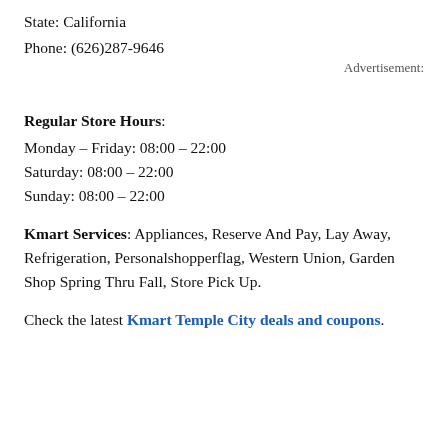State: California
Phone: (626)287-9646
Advertisement:
Regular Store Hours:
Monday – Friday: 08:00 – 22:00
Saturday: 08:00 – 22:00
Sunday: 08:00 – 22:00
Kmart Services: Appliances, Reserve And Pay, Lay Away, Refrigeration, Personalshopperflag, Western Union, Garden Shop Spring Thru Fall, Store Pick Up.
Check the latest Kmart Temple City deals and coupons.